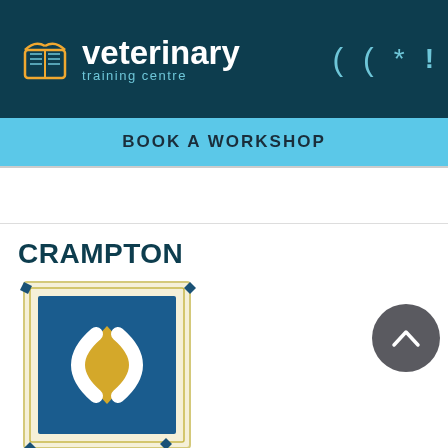veterinary training centre
BOOK A WORKSHOP
[Figure (logo): Crampton Consulting Group logo: blue square with gold diamond and white curved C shapes, surrounded by a decorative cream border with blue diamond corner accents. Text 'CRAMPTON' above in dark teal bold, 'Consulting Group' below in dark teal bold.]
Consulting Group